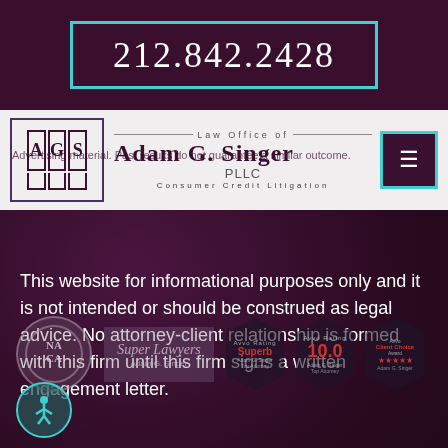212.842.2428
[Figure (logo): Law Office of Adam G. Singer PLLC logo with AGS monogram and navigation menu button]
Advertising material. Past results do not guarantee a similar outcome.
This website for informational purposes only and it is not intended or should be construed as legal advice. No attorney-client relationship is formed with this firm until this firm signs a written engagement letter.
[Figure (logo): Award badges: NACA, Super Lawyers, Avvo Superb rating, Avvo 10.0, Avvo Client Choice Award]